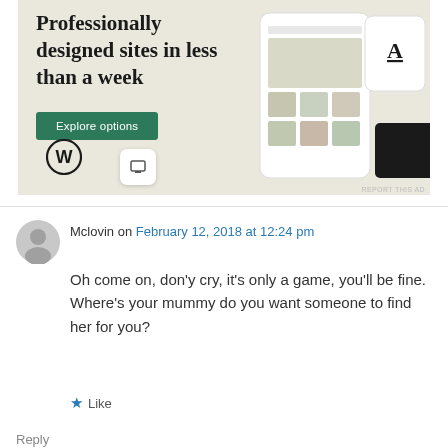[Figure (illustration): WordPress advertisement banner with text 'Professionally designed sites in less than a week', a green 'Explore options' button, the WordPress logo, and phone/tablet mockups showing website designs on a beige background with 'REPORT THIS AD' text.]
Mclovin on February 12, 2018 at 12:24 pm
Oh come on, don'y cry, it's only a game, you'll be fine. Where's your mummy do you want someone to find her for you?
Like